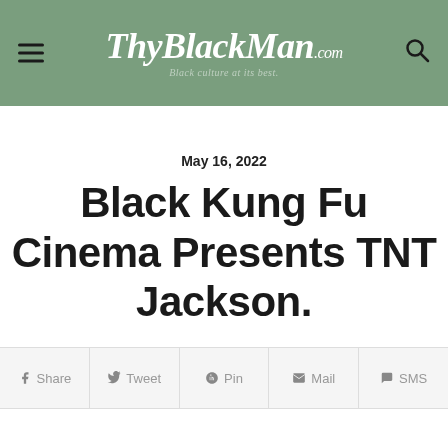ThyBlackMan.com — Black culture at its best.
May 16, 2022
Black Kung Fu Cinema Presents TNT Jackson.
Share  Tweet  Pin  Mail  SMS